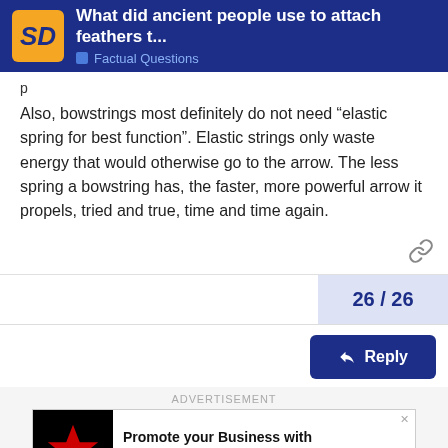What did ancient people use to attach feathers t... | Factual Questions
p
Also, bowstrings most definitely do not need “elastic spring for best function”. Elastic strings only waste energy that would otherwise go to the arrow. The less spring a bowstring has, the faster, more powerful arrow it propels, tried and true, time and time again.
26 / 26
Reply
ADVERTISEMENT
[Figure (illustration): Chicago Sun-Times advertisement banner with red star logo on black background and text 'Promote your Business with the CHICAGO SUN*TIMES']
Suggested Topics